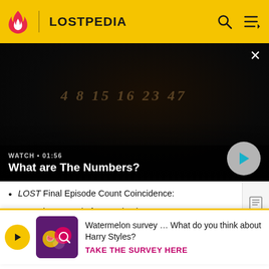LOSTPEDIA
[Figure (screenshot): Dark video thumbnail showing faint numbers written on a surface. Shows 'WATCH • 01:56' and title 'What are The Numbers?' with a play button.]
LOST Final Episode Count Coincidence:
LOST has a total of 121 episodes. 1 + 2 + 1 = 4, a
It ... 134 (1...
[Figure (infographic): Survey advertisement overlay: 'Watermelon survey … What do you think about Harry Styles? TAKE THE SURVEY HERE']